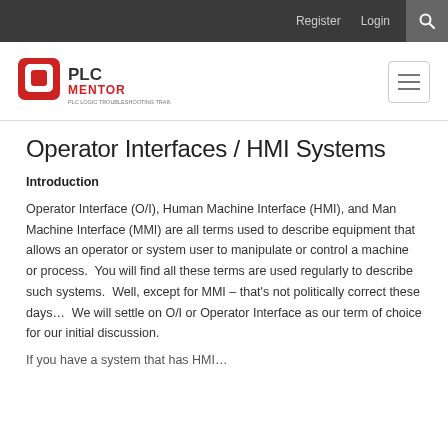Register   Login   🔍
[Figure (logo): PLC Mentor logo — red and black icon with text 'PLC MENTOR' and tagline]
Operator Interfaces / HMI Systems
Introduction
Operator Interface (O/I), Human Machine Interface (HMI), and Man Machine Interface (MMI) are all terms used to describe equipment that allows an operator or system user to manipulate or control a machine or process.  You will find all these terms are used regularly to describe such systems.  Well, except for MMI – that's not politically correct these days…  We will settle on O/I or Operator Interface as our term of choice for our initial discussion.
If you have a system that has HMI...